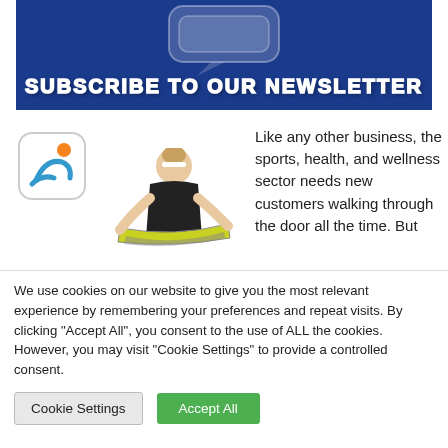[Figure (illustration): Blue banner with chat bubble graphic and bold white text: SUBSCRIBE TO OUR NEWSLETTER]
[Figure (illustration): Logo icon (person/wave graphic in rounded square) and fitness woman holding yoga mat]
Like any other business, the sports, health, and wellness sector needs new customers walking through the door all the time. But
We use cookies on our website to give you the most relevant experience by remembering your preferences and repeat visits. By clicking "Accept All", you consent to the use of ALL the cookies. However, you may visit "Cookie Settings" to provide a controlled consent.